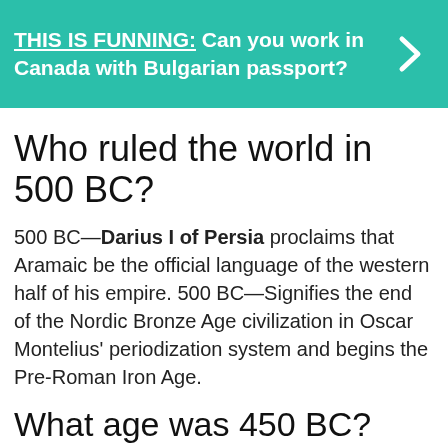[Figure (infographic): Teal/green banner with bold white text reading 'THIS IS FUNNING: Can you work in Canada with Bulgarian passport?' and a right-arrow chevron on the right side.]
Who ruled the world in 500 BC?
500 BC—Darius I of Persia proclaims that Aramaic be the official language of the western half of his empire. 500 BC—Signifies the end of the Nordic Bronze Age civilization in Oscar Montelius' periodization system and begins the Pre-Roman Iron Age.
What age was 450 BC?
Year 450 BC was a year of the pre-Julian Roman calendar. At the time, it was known